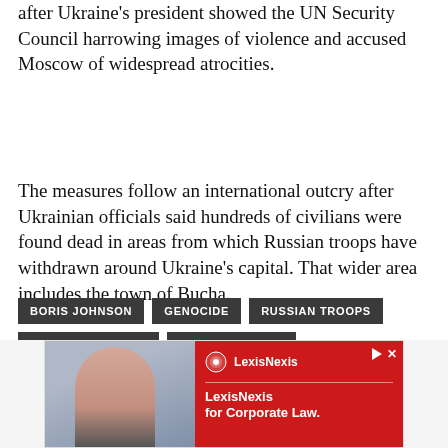after Ukraine's president showed the UN Security Council harrowing images of violence and accused Moscow of widespread atrocities.
The measures follow an international outcry after Ukrainian officials said hundreds of civilians were found dead in areas from which Russian troops have withdrawn around Ukraine's capital. That wider area includes the town of Bucha.
BORIS JOHNSON
GENOCIDE
RUSSIAN TROOPS
RUSSIAN INVASION
BUCHA KILLINGS
[Figure (photo): Advertisement for LexisNexis for Corporate Law, showing a smiling woman and red branding panel with LexisNexis logo.]